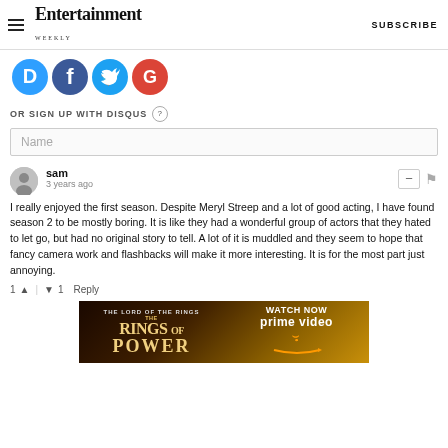Entertainment Weekly — SUBSCRIBE
[Figure (logo): Social media login icons: Disqus (blue D), Facebook (blue f), Twitter (blue bird), Google (red G)]
OR SIGN UP WITH DISQUS
Name
sam
3 years ago
I really enjoyed the first season. Despite Meryl Streep and a lot of good acting, I have found season 2 to be mostly boring. It is like they had a wonderful group of actors that they hated to let go, but had no original story to tell. A lot of it is muddled and they seem to hope that fancy camera work and flashbacks will make it more interesting. It is for the most part just annoying.
1 ↑ | ↓ 1   Reply
[Figure (screenshot): Advertisement banner for The Lord of the Rings: The Rings of Power on Prime Video — Watch Now]